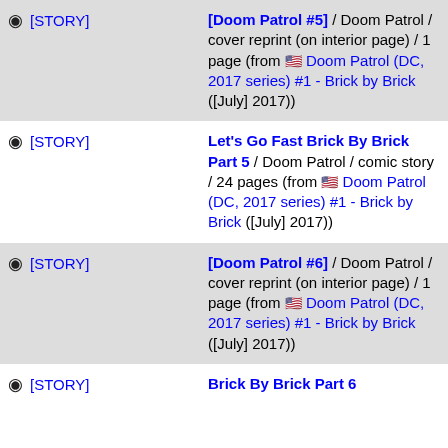[STORY] [Doom Patrol #5] / Doom Patrol / cover reprint (on interior page) / 1 page (from 🇺🇸 Doom Patrol (DC, 2017 series) #1 - Brick by Brick ([July] 2017))
[STORY] Let's Go Fast Brick By Brick Part 5 / Doom Patrol / comic story / 24 pages (from 🇺🇸 Doom Patrol (DC, 2017 series) #1 - Brick by Brick ([July] 2017))
[STORY] [Doom Patrol #6] / Doom Patrol / cover reprint (on interior page) / 1 page (from 🇺🇸 Doom Patrol (DC, 2017 series) #1 - Brick by Brick ([July] 2017))
[STORY] Brick By Brick Part 6